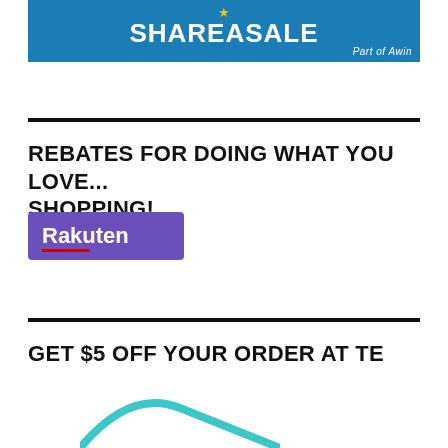[Figure (logo): ShareASale logo on blue background with star icon and 'Part of Awin' subtitle]
REBATES FOR DOING WHAT YOU LOVE... SHOPPING!
[Figure (logo): Rakuten logo — white text on purple/violet background rectangle with red underline accent]
GET $5 OFF YOUR ORDER AT TE
[Figure (illustration): Partial teal arch/wave shape at bottom of page]